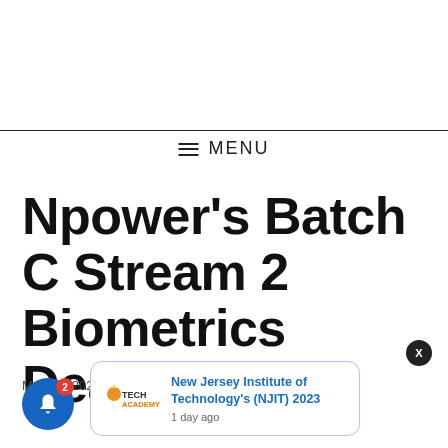≡ MENU
Npower's Batch C Stream 2 Biometrics Deadline
May 26, 2022 by
[Figure (screenshot): Notification popup card showing Tech Academy logo and text 'New Jersey Institute of Technology's (NJIT) 2023' with timestamp '1 day ago']
[Figure (infographic): Blue notification bell icon with red badge showing count 2]